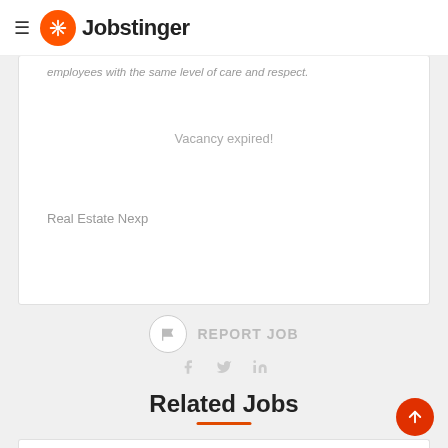Jobstinger
employees with the same level of care and respect.
Vacancy expired!
Real Estate Nexp
REPORT JOB
Related Jobs